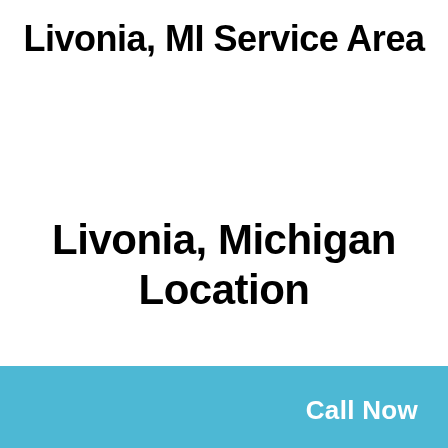Livonia, MI Service Area
Livonia, Michigan Location
Call Now